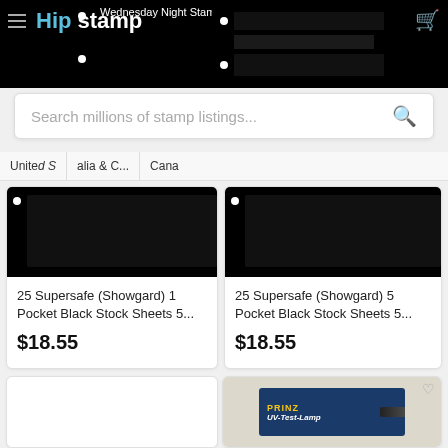Wednesday Night Stamp Auction | Ends from 7pm ET Bid Now
[Figure (screenshot): HipStamp logo on black banner with navigation dots]
Search millions of stamp listings...
United S... | alia & C... | Canada
[Figure (screenshot): 25 Supersafe (Showgard) 1 Pocket Black Stock Sheets 5... product image on black background]
25 Supersafe (Showgard) 1 Pocket Black Stock Sheets 5...
$18.55
[Figure (screenshot): 25 Supersafe (Showgard) 5 Pocket Black Stock Sheets 5... product image on black background]
25 Supersafe (Showgard) 5 Pocket Black Stock Sheets 5...
$18.55
[Figure (photo): 1939 New York Worlds Fair Films Discs 1 & 2 on purple background]
[Figure (photo): PRINZ UV-Test-Lamp in blue box packaging]